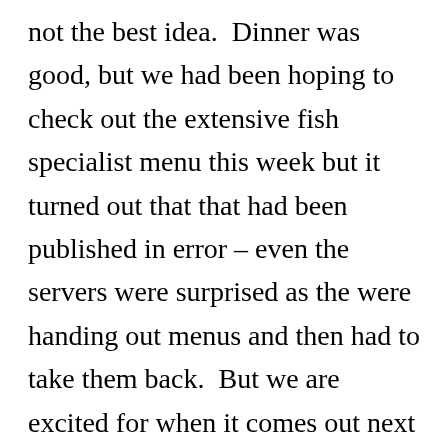not the best idea.  Dinner was good, but we had been hoping to check out the extensive fish specialist menu this week but it turned out that that had been published in error – even the servers were surprised as the were handing out menus and then had to take them back.  But we are excited for when it comes out next week now.

Luciana was straight to bed when we got home.  Then Liesl and I played the end of The Book of Unwritten Tales: The Critter